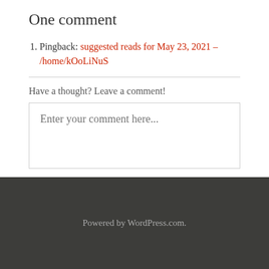One comment
Pingback: suggested reads for May 23, 2021 – /home/kOoLiNuS
Have a thought? Leave a comment!
Enter your comment here...
Powered by WordPress.com.